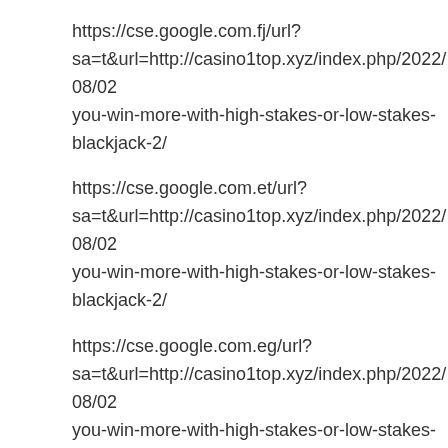https://cse.google.com.fj/url?sa=t&url=http://casino1top.xyz/index.php/2022/08/02/you-win-more-with-high-stakes-or-low-stakes-blackjack-2/
https://cse.google.com.et/url?sa=t&url=http://casino1top.xyz/index.php/2022/08/02/you-win-more-with-high-stakes-or-low-stakes-blackjack-2/
https://cse.google.com.eg/url?sa=t&url=http://casino1top.xyz/index.php/2022/08/02/you-win-more-with-high-stakes-or-low-stakes-blackjack-2/
https://cse.google.com.ec/url?sa=t&url=http://casino1top.xyz/index.php/2022/08/02/you-win-more-with-high-stakes-or-low-stakes-blackjack-2/
https://cse.google.com.do/url?